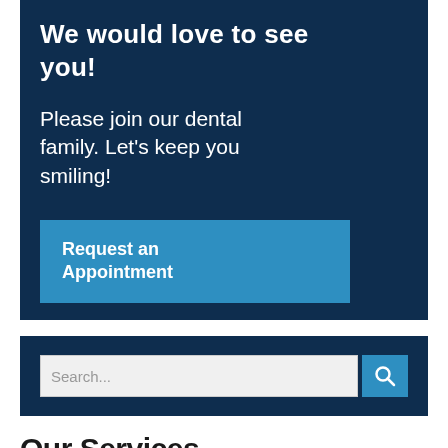We would love to see you!
Please join our dental family. Let's keep you smiling!
[Figure (other): Blue button labeled 'Request an Appointment']
[Figure (other): Search bar with text input showing 'Search...' placeholder and a blue search icon button]
Our Services